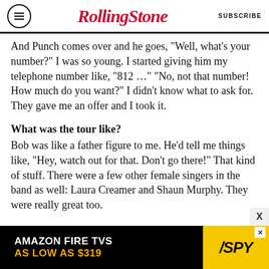RollingStone | SUBSCRIBE
And Punch comes over and he goes, "Well, what's your number?" I was so young. I started giving him my telephone number like, "812 …" "No, not that number! How much do you want?" I didn't know what to ask for. They gave me an offer and I took it.
What was the tour like?
Bob was like a father figure to me. He'd tell me things like, "Hey, watch out for that. Don't go there!" That kind of stuff. There were a few other female singers in the band as well: Laura Creamer and Shaun Murphy. They were really great too.
[Figure (other): Advertisement banner for Amazon Fire TVs with text 'AMAZON FIRE TVS AS LOW AS $319' and SPY logo on yellow background]